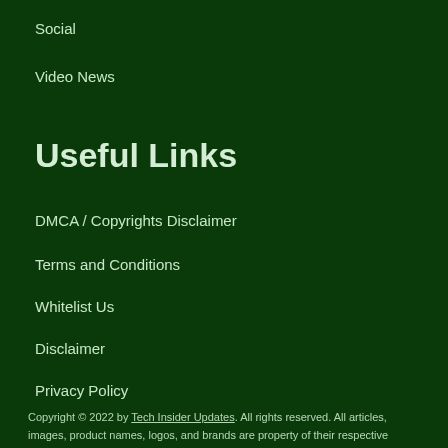Social
Video News
Useful Links
DMCA / Copyrights Disclaimer
Terms and Conditions
Whitelist Us
Disclaimer
Privacy Policy
Abuse
Copyright © 2022 by Tech Insider Updates. All rights reserved. All articles, images, product names, logos, and brands are property of their respective